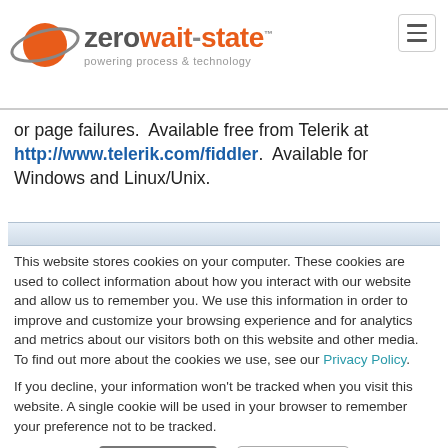[Figure (logo): zerowait-state logo with orange planet/orbit icon and tagline 'powering process & technology']
or page failures.  Available free from Telerik at http://www.telerik.com/fiddler.  Available for Windows and Linux/Unix.
[Figure (screenshot): Partial screenshot of a web browser window showing a toolbar/address bar area]
This website stores cookies on your computer. These cookies are used to collect information about how you interact with our website and allow us to remember you. We use this information in order to improve and customize your browsing experience and for analytics and metrics about our visitors both on this website and other media. To find out more about the cookies we use, see our Privacy Policy.

If you decline, your information won't be tracked when you visit this website. A single cookie will be used in your browser to remember your preference not to be tracked.